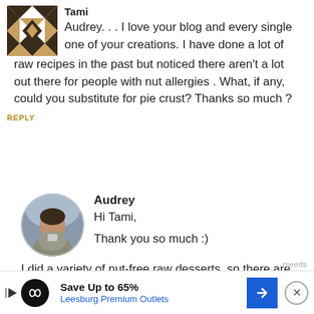Tami
Audrey... I love your blog and every single one of your creations. I have done a lot of raw recipes in the past but noticed there aren't a lot out there for people with nut allergies . What, if any, could you substitute for pie crust? Thanks so much ?
REPLY
Audrey
Hi Tami,
Thank you so much :)
I did a variety of nut-free raw desserts, so there are some options for crusts (not sure if you saw the recipes section yet, but if you select “raw” and “nut-free” you’ll come up with all kinds o
Save Up to 65%
Leesburg Premium Outlets